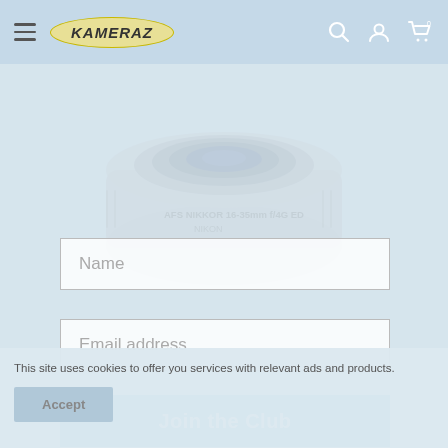KAMERAZ
[Figure (photo): Camera lens (Nikon AF-S NIKKOR 16-35mm f/4G ED) shown as a faded background image]
Name
Email address
Join the Club
This site uses cookies to offer you services with relevant ads and products.
Accept